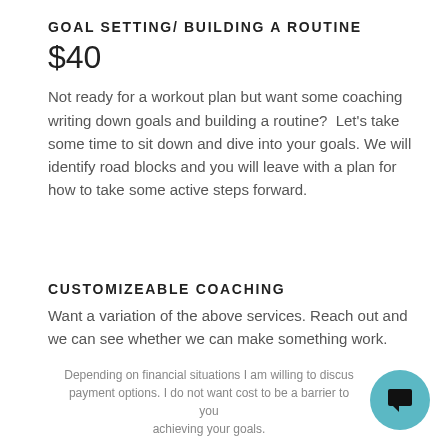GOAL SETTING/ BUILDING A ROUTINE
$40
Not ready for a workout plan but want some coaching writing down goals and building a routine?  Let's take some time to sit down and dive into your goals. We will identify road blocks and you will leave with a plan for how to take some active steps forward.
CUSTOMIZEABLE COACHING
Want a variation of the above services. Reach out and we can see whether we can make something work.
Depending on financial situations I am willing to discuss payment options. I do not want cost to be a barrier to you achieving your goals.